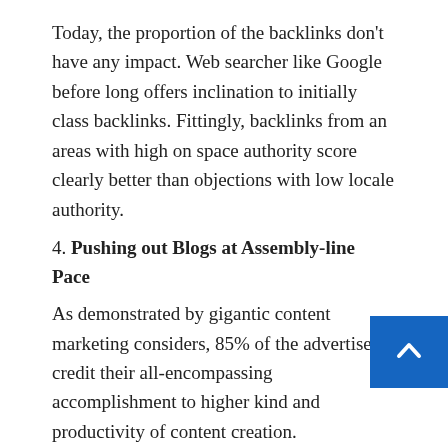Today, the proportion of the backlinks don't have any impact. Web searcher like Google before long offers inclination to initially class backlinks. Fittingly, backlinks from an areas with high on space authority score clearly better than objections with low locale authority.
4. Pushing out Blogs at Assembly-line Pace
As demonstrated by gigantic content marketing considers, 85% of the advertisers credit their all-encompassing accomplishment to higher kind and productivity of content creation.
In any case, is that the way where in you need things to be?